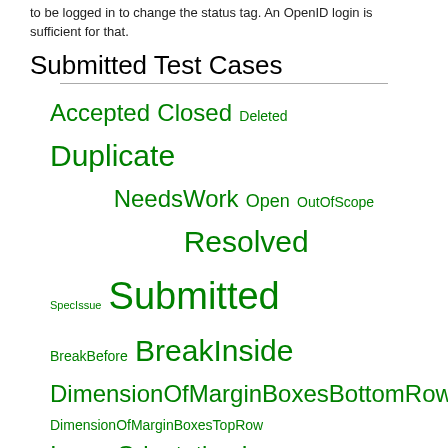to be logged in to change the status tag. An OpenID login is sufficient for that.
Submitted Test Cases
[Figure (other): Tag cloud of test case status and group tags in green, with varying font sizes indicating frequency: Accepted, Closed, Deleted, Duplicate, NeedsWork, Open, OutOfScope, Resolved, SpecIssue, Submitted, BreakBefore, BreakInside, DimensionOfMarginBoxesBottomRow, DimensionOfMarginBoxesTopRow, ImageOrientation, Images, MarginBoxes, Orphans, PageBreaks, PageProperties, PageSize, Widows]
Filtered by status=Accepted & group=PageProperties
Show all (remove filter/sort)
| Submission | Status | ↓ Authors | Groups |  |
| --- | --- | --- | --- | --- |